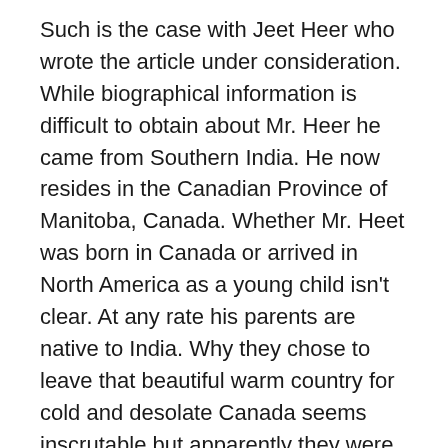Such is the case with Jeet Heer who wrote the article under consideration. While biographical information is difficult to obtain about Mr. Heer he came from Southern India. He now resides in the Canadian Province of Manitoba, Canada. Whether Mr. Heet was born in Canada or arrived in North America as a young child isn't clear. At any rate his parents are native to India. Why they chose to leave that beautiful warm country for cold and desolate Canada seems inscrutable but apparently they were dissatisfied with that ancient and lovely culture. Perhaps India wasn't diverse enough, so they chose to live in the multi-cultural West.
As any trans-national migrant knows, or should know, the transition from being an Indian to an English speaking Canadian would be difficult. However as India was tutored by England over a period of centuries that has melded to